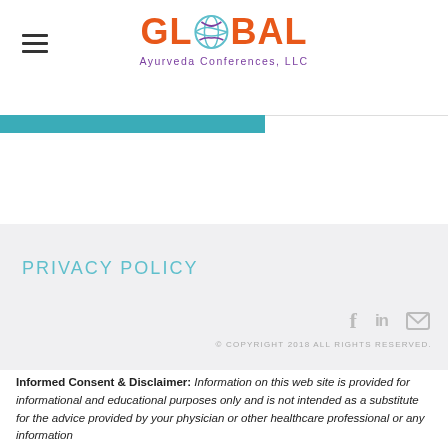GLOBAL Ayurveda Conferences, LLC
PRIVACY POLICY
© COPYRIGHT 2018  ALL RIGHTS RESERVED.
Informed Consent & Disclaimer: Information on this web site is provided for informational and educational purposes only and is not intended as a substitute for the advice provided by your physician or other healthcare professional or any information